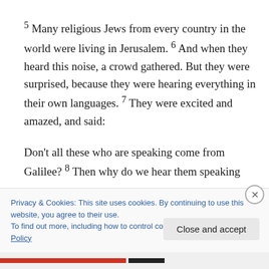5 Many religious Jews from every country in the world were living in Jerusalem. 6 And when they heard this noise, a crowd gathered. But they were surprised, because they were hearing everything in their own languages. 7 They were excited and amazed, and said:
Don't all these who are speaking come from Galilee? 8 Then why do we hear them speaking our very own
Privacy & Cookies: This site uses cookies. By continuing to use this website, you agree to their use.
To find out more, including how to control cookies, see here: Cookie Policy
Close and accept